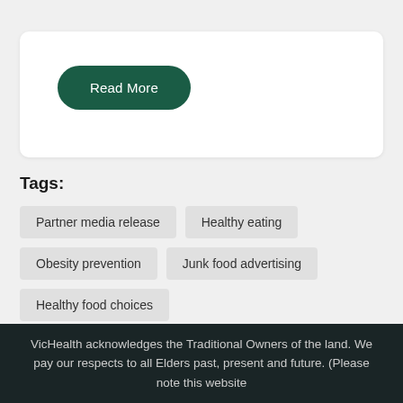Read More
Tags:
Partner media release
Healthy eating
Obesity prevention
Junk food advertising
Healthy food choices
VicHealth acknowledges the Traditional Owners of the land. We pay our respects to all Elders past, present and future. (Please note this website